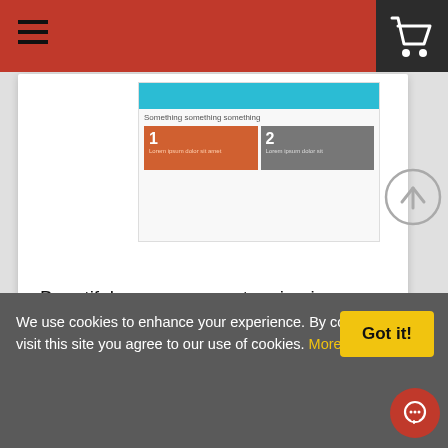[Figure (screenshot): Website navigation bar with hamburger menu icon on left, red background center, dark right section with shopping cart icon]
[Figure (screenshot): Product card showing a thumbnail of a tanning infographic template with cyan header, orange and gray boxes numbered 1 and 2]
Beautiful young woman tanning in
[Figure (screenshot): Download button in blue]
[Figure (screenshot): Second product card showing flyer template: DON'T COMPROMISE heading, (800) 543-5432, THINK BIGGER, IMAGINE text on tan/beige background with woman photo]
Beauti
We use cookies to enhance your experience. By continuing to visit this site you agree to our use of cookies. More info
[Figure (screenshot): Got it! yellow button]
[Figure (screenshot): Scroll up circular arrow button]
[Figure (screenshot): Red circular chat button]